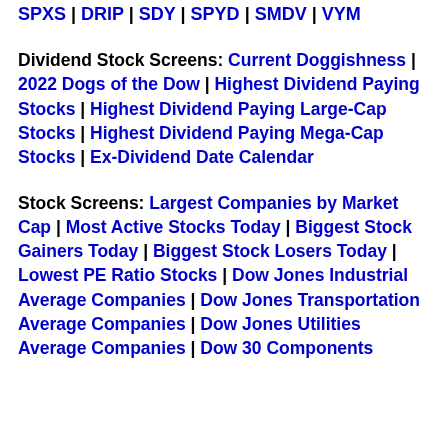SPXS | DRIP | SDY | SPYD | SMDV | VYM
Dividend Stock Screens: Current Doggishness | 2022 Dogs of the Dow | Highest Dividend Paying Stocks | Highest Dividend Paying Large-Cap Stocks | Highest Dividend Paying Mega-Cap Stocks | Ex-Dividend Date Calendar
Stock Screens: Largest Companies by Market Cap | Most Active Stocks Today | Biggest Stock Gainers Today | Biggest Stock Losers Today | Lowest PE Ratio Stocks | Dow Jones Industrial Average Companies | Dow Jones Transportation Average Companies | Dow Jones Utilities Average Companies | Dow 30 Components